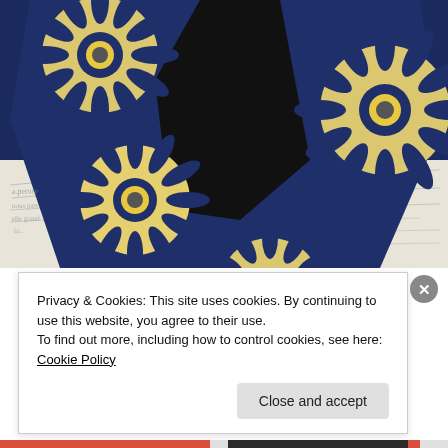[Figure (photo): Close-up photo of navy blue fabric shorts with large yellow sunflower print pattern, laid on top of papers with cursive handwriting. The fabric is dark navy with cream/yellow circular sunflower motifs. The background shows vintage handwritten letter paper.]
Privacy & Cookies: This site uses cookies. By continuing to use this website, you agree to their use.
To find out more, including how to control cookies, see here: Cookie Policy